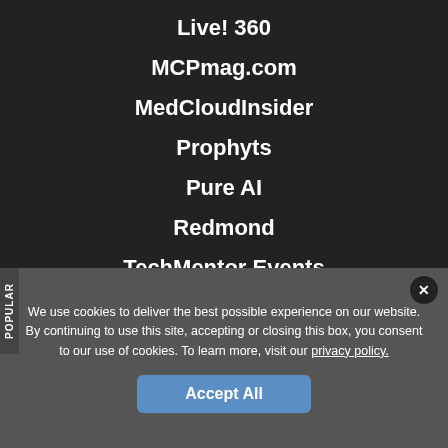Live! 360
MCPmag.com
MedCloudInsider
Prophyts
Pure AI
Redmond
TechMentor Events
Virtualization & Cloud Review
Visual Studio Magazine
Visual Studio Live!
POPULAR
We use cookies to deliver the best possible experience on our website. By continuing to use this site, accepting or closing this box, you consent to our use of cookies. To learn more, visit our privacy policy.
Accept All